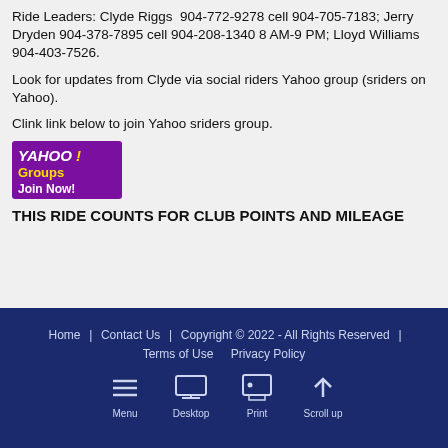Ride Leaders: Clyde Riggs  904-772-9278 cell 904-705-7183; Jerry Dryden 904-378-7895 cell 904-208-1340 8 AM-9 PM; Lloyd Williams 904-403-7526.
Look for updates from Clyde via social riders Yahoo group (sriders on Yahoo).
Clink link below to join Yahoo sriders group.
[Figure (logo): Yahoo! Groups Join Now! button — purple background with yellow Yahoo! Groups text and white Join Now! text]
THIS RIDE COUNTS FOR CLUB POINTS AND MILEAGE
Home  |  Contact Us  |  Copyright © 2022 - All Rights Reserved  |  Terms of Use  Privacy Policy  Menu  Desktop  Print  Scroll up